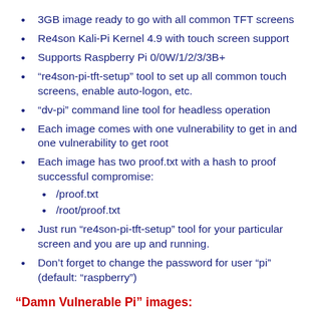3GB image ready to go with all common TFT screens
Re4son Kali-Pi Kernel 4.9 with touch screen support
Supports Raspberry Pi 0/0W/1/2/3/3B+
“re4son-pi-tft-setup” tool to set up all common touch screens, enable auto-logon, etc.
“dv-pi” command line tool for headless operation
Each image comes with one vulnerability to get in and one vulnerability to get root
Each image has two proof.txt with a hash to proof successful compromise:
  /proof.txt
  /root/proof.txt
Just run “re4son-pi-tft-setup” tool for your particular screen and you are up and running.
Don’t forget to change the password for user “pi” (default: “raspberry”)
“Damn Vulnerable Pi” images: